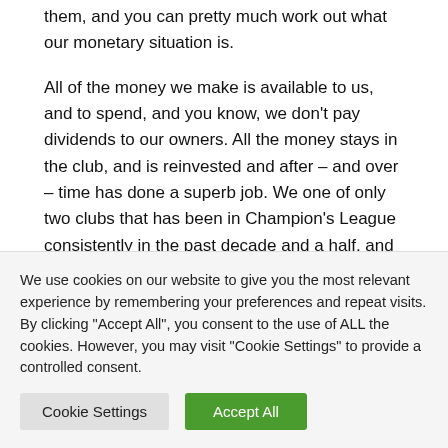them, and you can pretty much work out what our monetary situation is.
All of the money we make is available to us, and to spend, and you know, we don't pay dividends to our owners. All the money stays in the club, and is reinvested and after – and over – time has done a superb job. We one of only two clubs that has been in Champion's League consistently in the past decade and a half, and we continue to do well, we continue to aim to stay right at the top of the game. And all of the money the club generates is available for Arsene
We use cookies on our website to give you the most relevant experience by remembering your preferences and repeat visits. By clicking "Accept All", you consent to the use of ALL the cookies. However, you may visit "Cookie Settings" to provide a controlled consent.